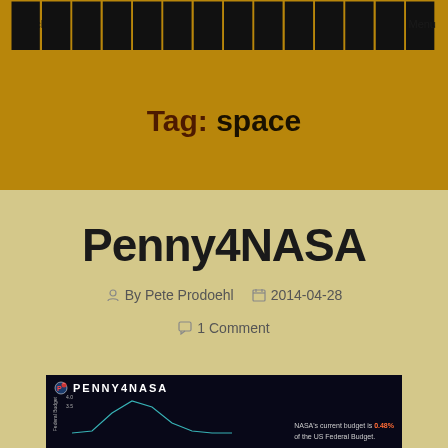Search   [LOGO] RAMBLINRICK.COM   Menu
Tag: space
Penny4NASA
By Pete Prodoehl   2014-04-28   1 Comment
[Figure (other): Penny4NASA infographic thumbnail showing a line chart of NASA's federal budget over time with text: NASA's current budget is 0.48% of the US Federal Budget.]